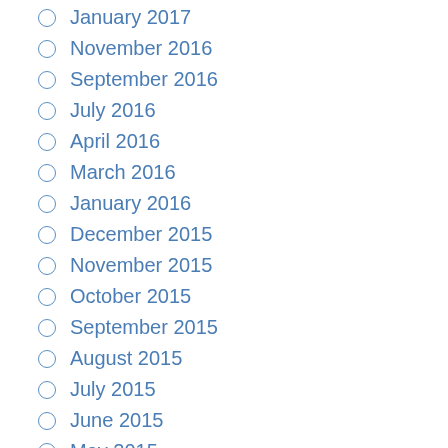January 2017
November 2016
September 2016
July 2016
April 2016
March 2016
January 2016
December 2015
November 2015
October 2015
September 2015
August 2015
July 2015
June 2015
May 2015
April 2015
March 2015
February 2015
January 2015
November 2014